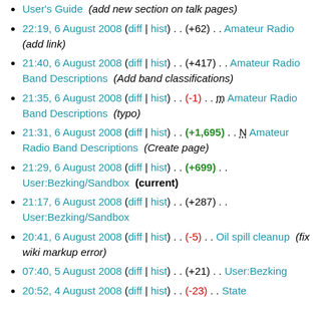User's Guide  (add new section on talk pages)
22:19, 6 August 2008 (diff | hist) . . (+62) . . Amateur Radio  (add link)
21:40, 6 August 2008 (diff | hist) . . (+417) . . Amateur Radio Band Descriptions  (Add band classifications)
21:35, 6 August 2008 (diff | hist) . . (-1) . . m Amateur Radio Band Descriptions  (typo)
21:31, 6 August 2008 (diff | hist) . . (+1,695) . . N Amateur Radio Band Descriptions  (Create page)
21:29, 6 August 2008 (diff | hist) . . (+699) . . User:Bezking/Sandbox  (current)
21:17, 6 August 2008 (diff | hist) . . (+287) . . User:Bezking/Sandbox
20:41, 6 August 2008 (diff | hist) . . (-5) . . Oil spill cleanup  (fix wiki markup error)
07:40, 5 August 2008 (diff | hist) . . (+21) . . User:Bezking
20:52, 4 August 2008 (diff | hist) . . (-23) . . State